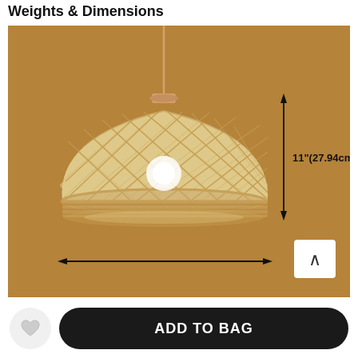Weights & Dimensions
[Figure (photo): Wicker/rattan dome pendant lamp hanging from a cord against a warm brown background. A vertical double-headed arrow on the right indicates the height 11"(27.94cm). A horizontal double-headed arrow at the bottom spans the full width of the lamp shade.]
ADD TO BAG